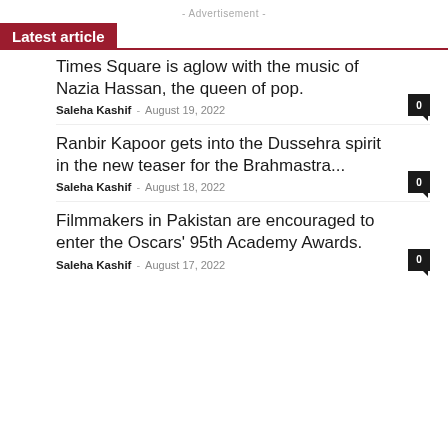- Advertisement -
Latest article
Times Square is aglow with the music of Nazia Hassan, the queen of pop.
Saleha Kashif – August 19, 2022
Ranbir Kapoor gets into the Dussehra spirit in the new teaser for the Brahmastra...
Saleha Kashif – August 18, 2022
Filmmakers in Pakistan are encouraged to enter the Oscars' 95th Academy Awards.
Saleha Kashif – August 17, 2022